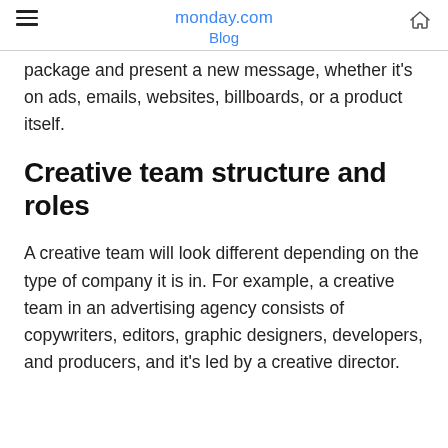monday.com Blog
package and present a new message, whether it’s on ads, emails, websites, billboards, or a product itself.
Creative team structure and roles
A creative team will look different depending on the type of company it is in. For example, a creative team in an advertising agency consists of copywriters, editors, graphic designers, developers, and producers, and it’s led by a creative director.